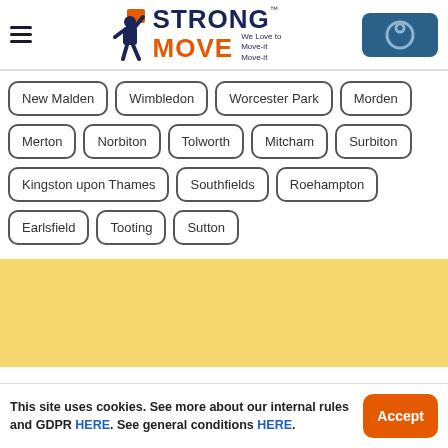[Figure (logo): Strong Move logo with person carrying box, orange and navy blue text, tagline 'We Love to Move-it Move-it']
New Malden
Wimbledon
Worcester Park
Morden
Merton
Norbiton
Tolworth
Mitcham
Surbiton
Kingston upon Thames
Southfields
Roehampton
Earlsfield
Tooting
Sutton
This site uses cookies. See more about our internal rules and GDPR HERE. See general conditions HERE.